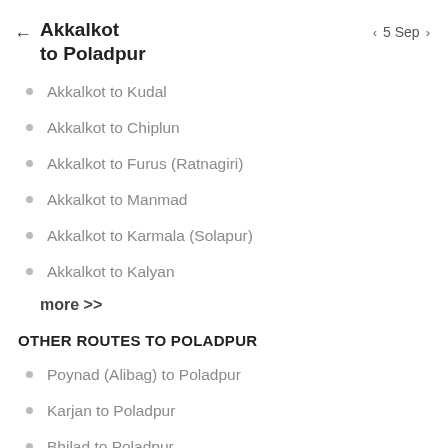Akkalkot to Poladpur
5 Sep
Akkalkot to Kudal
Akkalkot to Chiplun
Akkalkot to Furus (Ratnagiri)
Akkalkot to Manmad
Akkalkot to Karmala (Solapur)
Akkalkot to Kalyan
more >>
OTHER ROUTES TO POLADPUR
Poynad (Alibag) to Poladpur
Karjan to Poladpur
Bhilad to Poladpur
Kashimira to Poladpur